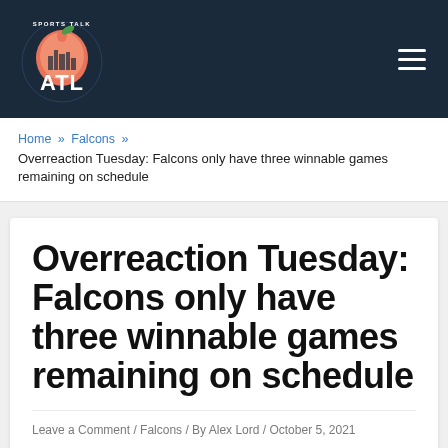[Figure (logo): Sports Talk ATL logo — peach with city skyline and ATL text in a circular badge]
Sports Talk ATL — site navigation header with hamburger menu
Home » Falcons »
Overreaction Tuesday: Falcons only have three winnable games remaining on schedule
Overreaction Tuesday: Falcons only have three winnable games remaining on schedule
Leave a Comment / Falcons / By Alex Lord / October 5, 2021